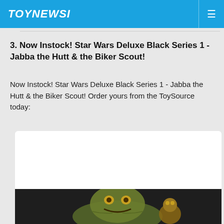TOYNEWSI
3. Now Instock! Star Wars Deluxe Black Series 1 - Jabba the Hutt & the Biker Scout!
Now Instock! Star Wars Deluxe Black Series 1 - Jabba the Hutt & the Biker Scout! Order yours from the ToySource today:
[Figure (photo): White card/embed area followed by a dark background photo showing Jabba the Hutt action figure from Star Wars Black Series Deluxe]